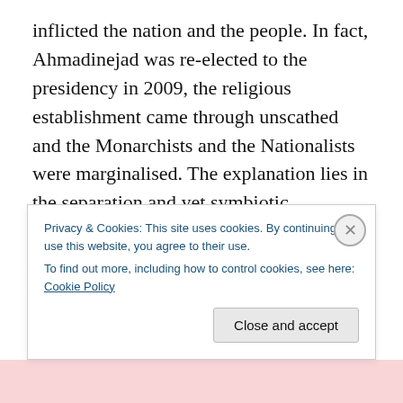inflicted the nation and the people. In fact, Ahmadinejad was re-elected to the presidency in 2009, the religious establishment came through unscathed and the Monarchists and the Nationalists were marginalised. The explanation lies in the separation and yet symbiotic relationship between Shi’ism and the political Islamist order, the two existing in mutual reinforcement against what was seen to be the common oppressor. This correlation goes back historically to the establishment of Shi’ism and how the consolidation of clerical power was a part of a dual system of the power of the State under the
Privacy & Cookies: This site uses cookies. By continuing to use this website, you agree to their use.
To find out more, including how to control cookies, see here: Cookie Policy